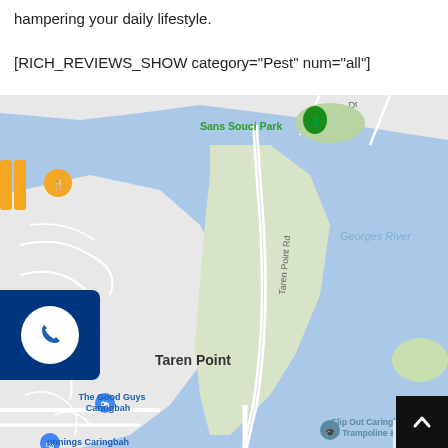hampering your daily lifestyle.
[RICH_REVIEWS_SHOW category="Pest" num="all"]
[Figure (map): Google Maps screenshot showing Taren Point and Georges River area in Sydney, Australia. Shows Sans Souci Park, Riverside Dr, Georges River, Taren Point Rd, Taren Point suburb, The Good Guys Caringbah, Flip Out Caringbah - Trampoline, and Bunnings Caringbah. A blue call button overlay is visible on the left side.]